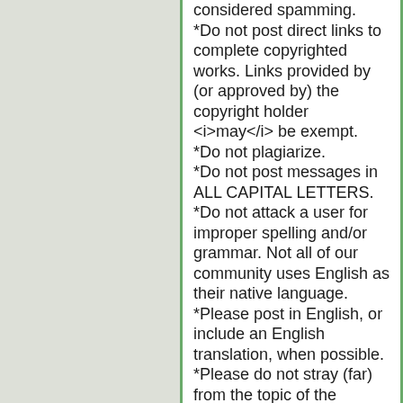considered spamming. *Do not post direct links to complete copyrighted works. Links provided by (or approved by) the copyright holder <i>may</i> be exempt. *Do not plagiarize. *Do not post messages in ALL CAPITAL LETTERS. *Do not attack a user for improper spelling and/or grammar. Not all of our community uses English as their native language. *Please post in English, or include an English translation, when possible. *Please do not stray (far) from the topic of the original post. *Please keep the conversations civil. Do not 'attack' other posters. *You may attack an individual's comments but not the individual. *Do not pretend to someone